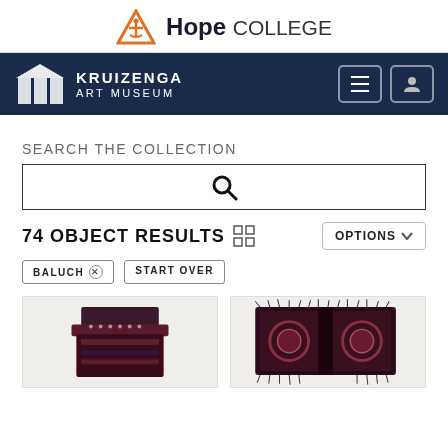[Figure (logo): Hope College header logo with orange triangle/anchor symbol and bold wordmark 'Hope COLLEGE']
[Figure (logo): Kruizenga Art Museum navy navigation bar with building silhouette icon, museum name, hamburger menu and user icon buttons]
SEARCH THE COLLECTION
[Figure (screenshot): Search input box with magnifying glass icon]
74 OBJECT RESULTS
OPTIONS
BALUCH ⊗
START OVER
[Figure (photo): First Baluch textile/rug object shown in card]
[Figure (photo): Second Baluch textile/rug object shown in card, a flat double-sided bag]